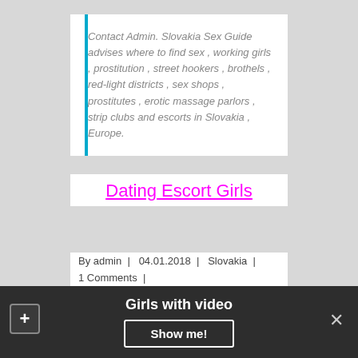Contact Admin. Slovakia Sex Guide advises where to find sex , working girls , prostitution , street hookers , brothels , red-light districts , sex shops , prostitutes , erotic massage parlors , strip clubs and escorts in Slovakia , Europe.
Dating Escort Girls
By admin | 04.01.2018 | Slovakia | 1 Comments |
Brothels in Zilina
Girls with video
Show me!